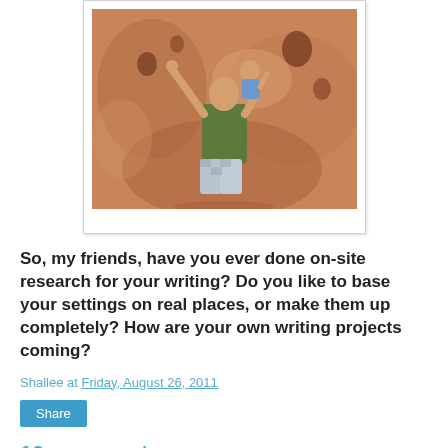[Figure (photo): A man with arms raised holding a baby/toddler on his shoulders, standing in front of red rock canyon walls. Polaroid-style framed photo.]
So, my friends, have you ever done on-site research for your writing? Do you like to base your settings on real places, or make them up completely? How are your own writing projects coming?
Shallee at Friday, August 26, 2011
Share
19 comments: